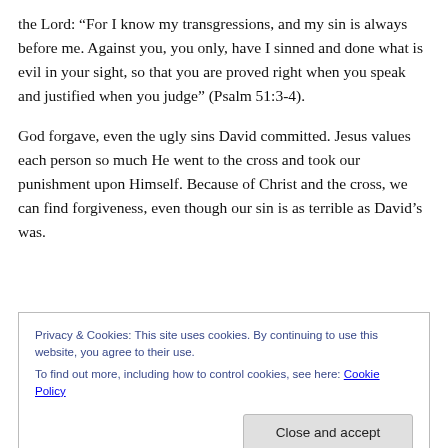the Lord: “For I know my transgressions, and my sin is always before me. Against you, you only, have I sinned and done what is evil in your sight, so that you are proved right when you speak and justified when you judge” (Psalm 51:3-4).
God forgave, even the ugly sins David committed. Jesus values each person so much He went to the cross and took our punishment upon Himself. Because of Christ and the cross, we can find forgiveness, even though our sin is as terrible as David’s was.
Privacy & Cookies: This site uses cookies. By continuing to use this website, you agree to their use.
To find out more, including how to control cookies, see here: Cookie Policy
Close and accept
God’s forgiveness, “… wash me, and I will be whiter than